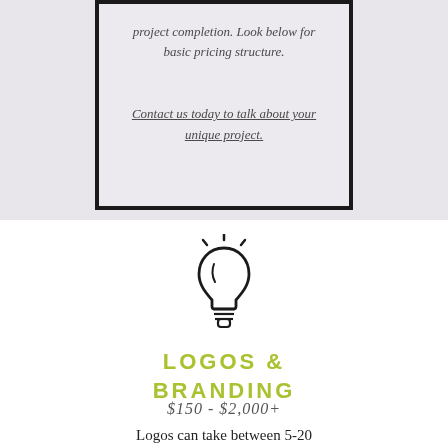project completion. Look below for basic pricing structure.
Contact us today to talk about your unique project.
[Figure (illustration): Light bulb icon with rays at top, outline style, black on white background]
LOGOS & BRANDING
$150 - $2,000+
Logos can take between 5-20 hours to complete.